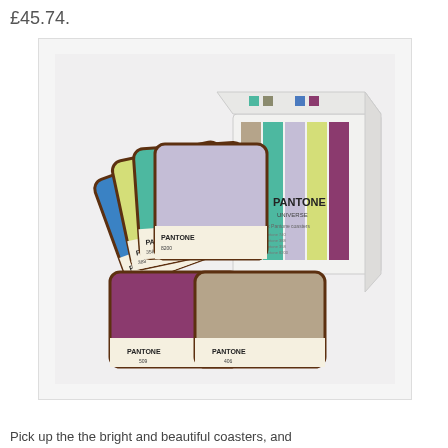£45.74.
[Figure (photo): Pantone coaster set in a box, showing 6 colorful coasters fanned out (blue, yellow-green, teal, lavender, teal blue) plus two coasters in front (purple and taupe/brown), with the Pantone branded white box behind showing vertical color stripes.]
Pick up the the bright and beautiful coasters, and